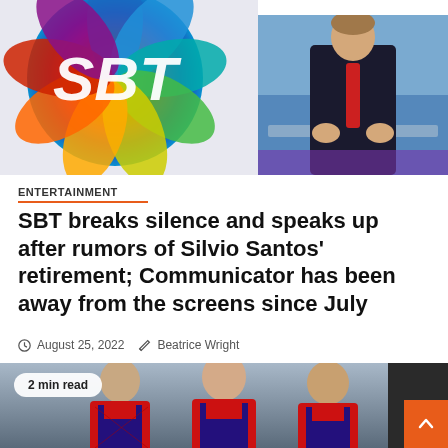[Figure (photo): Top portion showing two images side by side: left is the SBT network logo (colorful circular gradient with SBT text), right is a person in a dark suit with red tie at a desk/studio setting]
ENTERTAINMENT
SBT breaks silence and speaks up after rumors of Silvio Santos' retirement; Communicator has been away from the screens since July
August 25, 2022   Beatrice Wright
[Figure (photo): Three men dressed in Spider-Man costumes (red and black suits) standing side by side; a badge in the upper left reads '2 min read'; an orange scroll-to-top button is in the lower right corner]